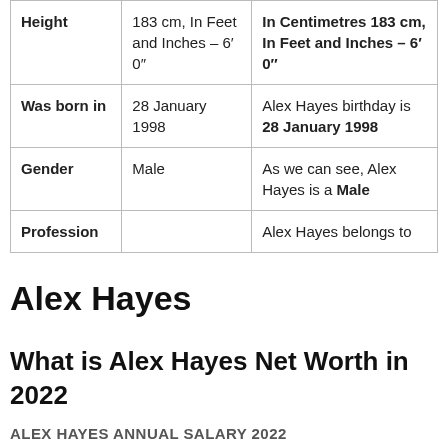|  |  |  |
| --- | --- | --- |
| Height | 183 cm, In Feet and Inches – 6′ 0″ | In Centimetres 183 cm, In Feet and Inches – 6′ 0″ |
| Was born in | 28 January 1998 | Alex Hayes birthday is 28 January 1998 |
| Gender | Male | As we can see, Alex Hayes is a Male |
| Profession |  | Alex Hayes belongs to |
Alex Hayes
What is Alex Hayes Net Worth in 2022
ALEX HAYES ANNUAL SALARY 2022